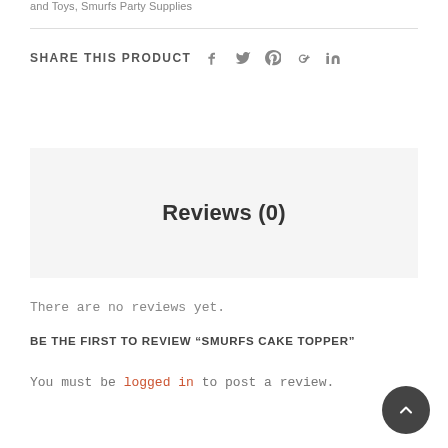and Toys, Smurfs Party Supplies
SHARE THIS PRODUCT  f  t  p  G+  in
Reviews (0)
There are no reviews yet.
BE THE FIRST TO REVIEW “SMURFS CAKE TOPPER”
You must be logged in to post a review.